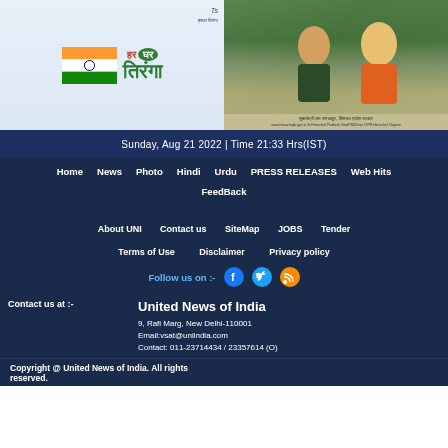[Figure (illustration): Har Ghar Tiranga campaign banner with Indian flag on left side]
[Figure (photo): Photo of Prime Minister Modi with another politician against a scenic hillside background, Himachal Pradesh government banner]
Sunday, Aug 21 2022 | Time 21:33 Hrs(IST)
Home   News   Photo   Hindi   Urdu   PRESS RELEASES   Web Hits   FeedBack
About UNI   Contact us   SiteMap   JOBS   Tender
Terms of Use   Disclaimer   Privacy policy
Follow us on :-
Contact us at :-
United News of India
9, Rafi Marg, New Delhi-110001
Email:vsat@uniindia.com
Contact: 011-23714434 / 23357614 (O)
Copyright @ United News of India. All rights reserved.